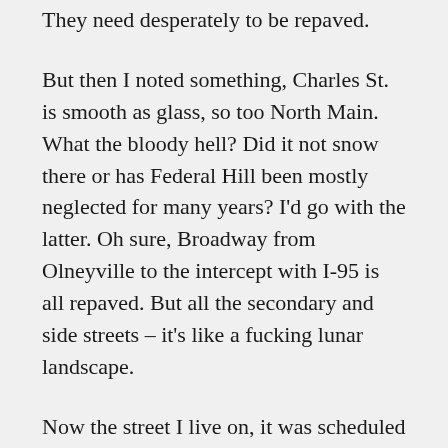They need desperately to be repaved.
But then I noted something, Charles St. is smooth as glass, so too North Main. What the bloody hell? Did it not snow there or has Federal Hill been mostly neglected for many years? I'd go with the latter. Oh sure, Broadway from Olneyville to the intercept with I-95 is all repaved. But all the secondary and side streets – it's like a fucking lunar landscape.
Now the street I live on, it was scheduled for repaving. Over a year ago. They went so far as to spray mark all the utilities underground and to put 2×4 protective rings around the trees that